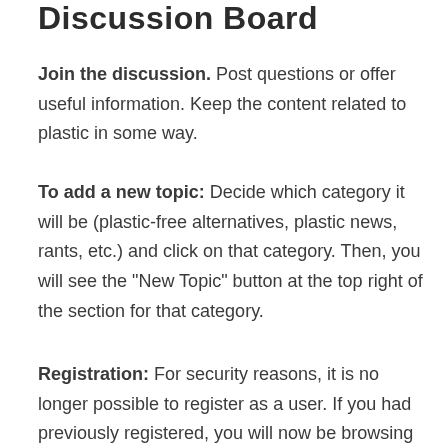Discussion Board
Join the discussion. Post questions or offer useful information. Keep the content related to plastic in some way.
To add a new topic: Decide which category it will be (plastic-free alternatives, plastic news, rants, etc.) and click on that category. Then, you will see the “New Topic” button at the top right of the section for that category.
Registration: For security reasons, it is no longer possible to register as a user. If you had previously registered, you will now be browsing and posting as